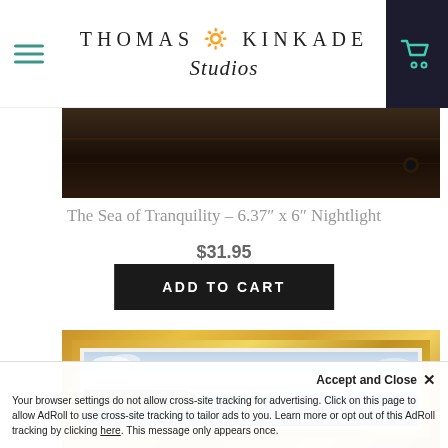Thomas Kinkade Studios
[Figure (photo): Close-up of dark wood surface, likely a framed painting detail]
The Sea of Tranquility – 6.37″ x 6″ Nightlight
$31.95
ADD TO CART
[Figure (photo): Thomas Kinkade painting 'The Sea of Tranquility' in an ornate gold frame, showing a lighthouse scene with glowing light, clouds, and greenery]
Accept and Close ✕
Your browser settings do not allow cross-site tracking for advertising. Click on this page to allow AdRoll to use cross-site tracking to tailor ads to you. Learn more or opt out of this AdRoll tracking by clicking here. This message only appears once.